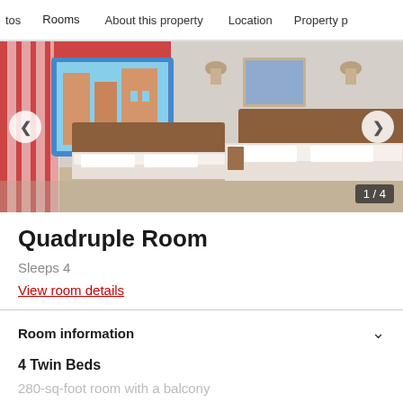tos   Rooms   About this property   Location   Property p
[Figure (photo): Hotel quadruple room with four twin beds, red striped curtains, wooden headboards, and a window showing an exterior view. Image counter shows 1/4.]
Quadruple Room
Sleeps 4
View room details
Room information
4 Twin Beds
280-sq-foot room with a balcony